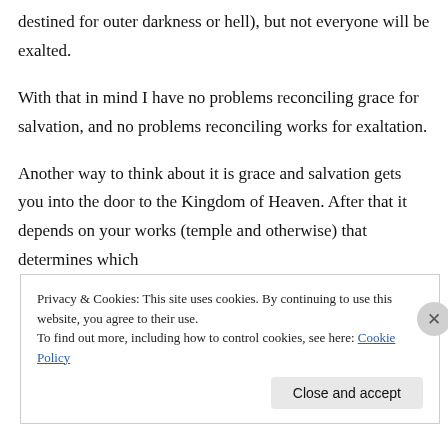destined for outer darkness or hell), but not everyone will be exalted.
With that in mind I have no problems reconciling grace for salvation, and no problems reconciling works for exaltation.
Another way to think about it is grace and salvation gets you into the door to the Kingdom of Heaven. After that it depends on your works (temple and otherwise) that determines which
Privacy & Cookies: This site uses cookies. By continuing to use this website, you agree to their use.
To find out more, including how to control cookies, see here: Cookie Policy